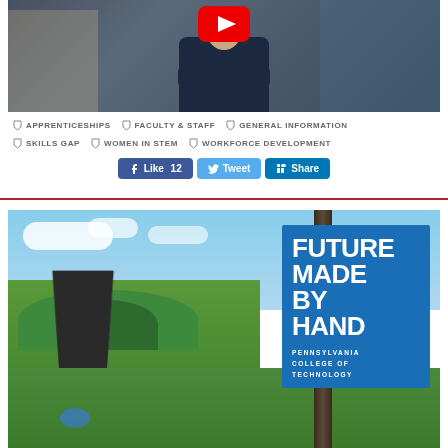[Figure (photo): A person standing with arms crossed in what appears to be a workshop or lab setting, with a YouTube play button overlay at the top]
APPRENTICESHIPS
FACULTY & STAFF
GENERAL INFORMATION
SKILLS GAP
WOMEN IN STEM
WORKFORCE DEVELOPMENT
Like 12  Tweet  Share
[Figure (photo): Aerial or elevated view of a Pennsylvania College of Technology campus road with a blue banner sign reading FUTURE MADE BY HAND with Pennsylvania College of Technology text below]